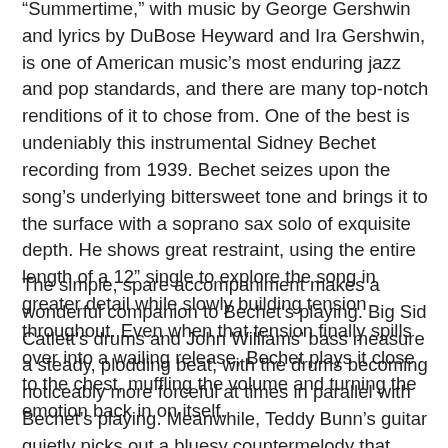“Summertime,” with music by George Gershwin and lyrics by DuBose Heyward and Ira Gershwin, is one of American music’s most enduring jazz and pop standards, and there are many top-notch renditions of it to chose from. One of the best is undeniably this instrumental Sidney Bechet recording from 1939. Bechet seizes upon the song’s underlying bittersweet tone and brings it to the surface with a soprano sax solo of exquisite depth. He shows great restraint, using the entire length of a 12” single to explore the song in greater detail while slowly building tension throughout. Even when that tension finally spills over into a wailing release, Bechet plays it close to the chest, muffling the volume and turning the emotion back in on itself.
The simple, spare accompaniment makes a wonderful companion to Bechet's playing. Big Sid Catlett's drums and John Williams’ bass measure a steady, plodding beat, with the drums becoming noticeably more forceful at times in parallel with Bechet’s playing. Meanwhile, Teddy Bunn’s guitar quietly picks out a bluesy countermelody that further fuels the song’s emotional fire. In all, it is a deeply intimate and beautiful performance and one of the best recordings of Bechet, the distinguished...